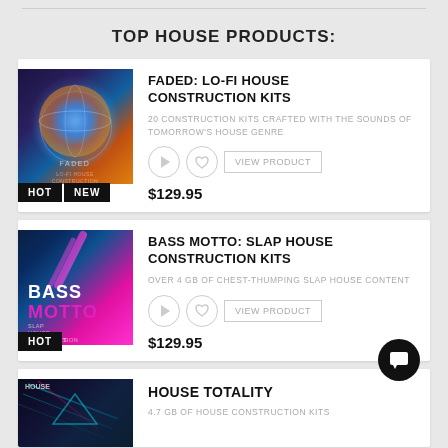TOP HOUSE PRODUCTS:
[Figure (illustration): Product card for Faded: Lo-Fi House Construction Kits with album art showing glowing sphere with blue/orange colors on dark background, HOT and NEW badges, price $129.95, play and heart buttons, VIEW PRODUCT button]
FADED: LO-FI HOUSE CONSTRUCTION KITS
20 CONSTRUCTION KITS CRAFTED WITH THE SOUNDS OF TOMORROW'S HOUSE GENRE
$129.95
[Figure (illustration): Product card for Bass Motto: Slap House Construction Kits with album art showing neon pink lightning on dark background with BASS MOTTO text, HOT badge, price $129.95, play and heart buttons, VIEW PRODUCT button]
BASS MOTTO: SLAP HOUSE CONSTRUCTION KITS
OVER 4 GB OF CHEST-THUMPING SLAP HOUSE CONTENT
$129.95
HOUSE TOTALITY
4.7 GB OF HOUSE CONSTRUCTION KITS